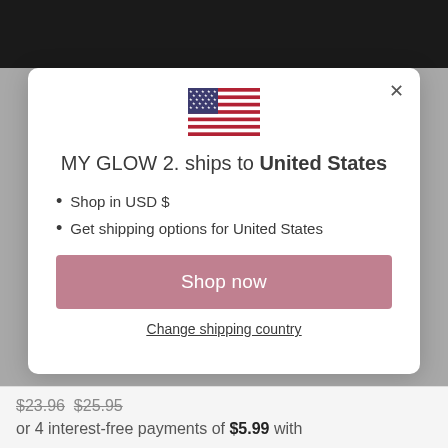[Figure (photo): Dark product image at the top of the page, partially visible]
[Figure (screenshot): Modal dialog showing shipping destination. Contains US flag, title text, bullet points, Shop now button, and Change shipping country link.]
MY GLOW 2. ships to United States
Shop in USD $
Get shipping options for United States
Shop now
Change shipping country
$23.96  $25.95 or 4 interest-free payments of $5.99 with